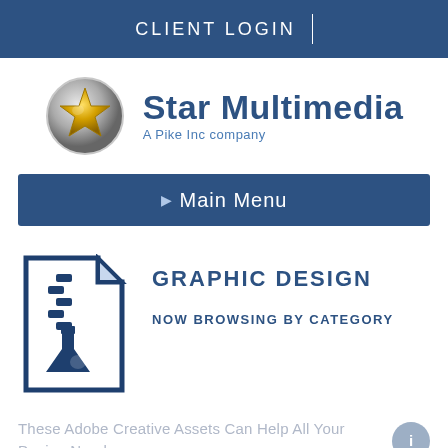CLIENT LOGIN
[Figure (logo): Star Multimedia - A Pike Inc company logo with gold star icon]
Main Menu
[Figure (illustration): Blue graphic design file/zip icon with flask/beaker symbol]
GRAPHIC DESIGN
NOW BROWSING BY CATEGORY
These Adobe Creative Assets Can Help All Your Design Needs